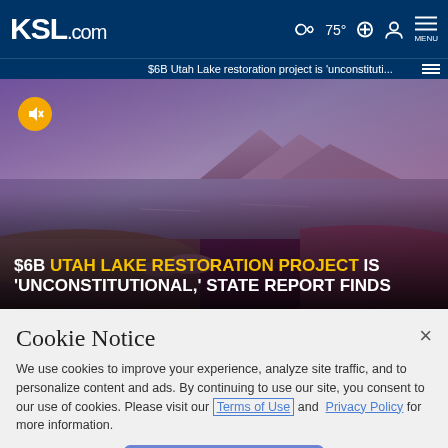KSL.com  75°  MENU
$6B Utah Lake restoration project is 'unconstituti...
[Figure (screenshot): Hero image of Utah Lake shoreline with rocks and water. Overlaid text reads: '$6B UTAH LAKE RESTORATION PROJECT IS UNCONSTITUTIONAL, STATE REPORT FINDS'. Orange mute button visible on top left of image.]
Cookie Notice
We use cookies to improve your experience, analyze site traffic, and to personalize content and ads. By continuing to use our site, you consent to our use of cookies. Please visit our Terms of Use and  Privacy Policy for more information.
Continue